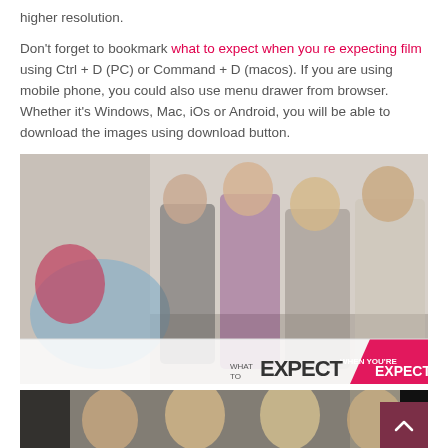higher resolution.
Don't forget to bookmark what to expect when you re expecting film using Ctrl + D (PC) or Command + D (macos). If you are using mobile phone, you could also use menu drawer from browser. Whether it's Windows, Mac, iOs or Android, you will be able to download the images using download button.
[Figure (photo): Movie poster for 'What to Expect When You're Expecting' showing five pregnant women posed together, with the film title logo at the bottom right.]
[Figure (photo): Partial second image showing several women from the same film, cropped at bottom of page.]